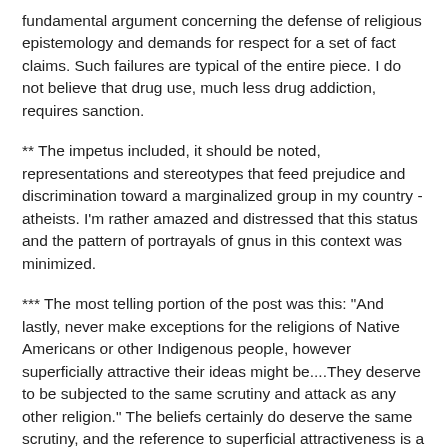fundamental argument concerning the defense of religious epistemology and demands for respect for a set of fact claims. Such failures are typical of the entire piece. I do not believe that drug use, much less drug addiction, requires sanction.
** The impetus included, it should be noted, representations and stereotypes that feed prejudice and discrimination toward a marginalized group in my country - atheists. I'm rather amazed and distressed that this status and the pattern of portrayals of gnus in this context was minimized.
*** The most telling portion of the post was this: "And lastly, never make exceptions for the religions of Native Americans or other Indigenous people, however superficially attractive their ideas might be....They deserve to be subjected to the same scrutiny and attack as any other religion." The beliefs certainly do deserve the same scrutiny, and the reference to superficial attractiveness is a dead giveaway. Understanding what makes a fact claim attractive to a gnu atheist is a start, and a hint is that the attraction is anything but superficial.